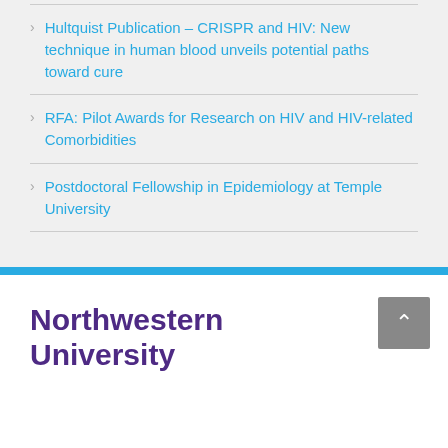Hultquist Publication – CRISPR and HIV: New technique in human blood unveils potential paths toward cure
RFA: Pilot Awards for Research on HIV and HIV-related Comorbidities
Postdoctoral Fellowship in Epidemiology at Temple University
[Figure (logo): Northwestern University logo in purple text]
[Figure (other): Back to top button with upward arrow]